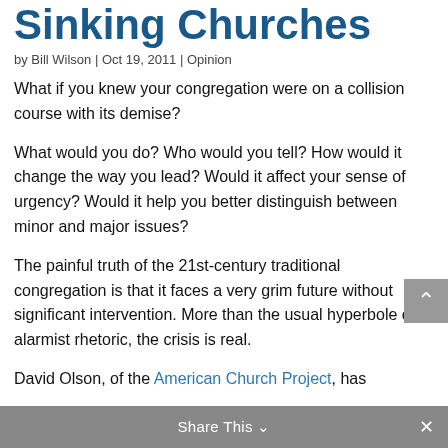Sinking Churches
by Bill Wilson | Oct 19, 2011 | Opinion
What if you knew your congregation were on a collision course with its demise?
What would you do? Who would you tell? How would it change the way you lead? Would it affect your sense of urgency? Would it help you better distinguish between minor and major issues?
The painful truth of the 21st-century traditional congregation is that it faces a very grim future without significant intervention. More than the usual hyperbole or alarmist rhetoric, the crisis is real.
David Olson, of the American Church Project, has